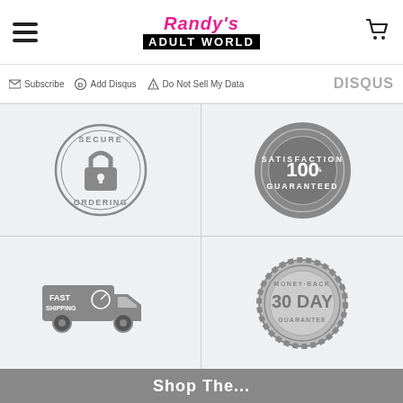Randy's Adult World - navigation header with hamburger menu and cart icon
Subscribe · Add Disqus · Do Not Sell My Data · DISQUS
[Figure (infographic): Trust badges grid on light grey background: Secure Ordering (lock in circle), 100% Satisfaction Guaranteed (stamp badge), Fast Shipping (truck icon), 30 Day Money-Back Guarantee (seal badge)]
Shop The...